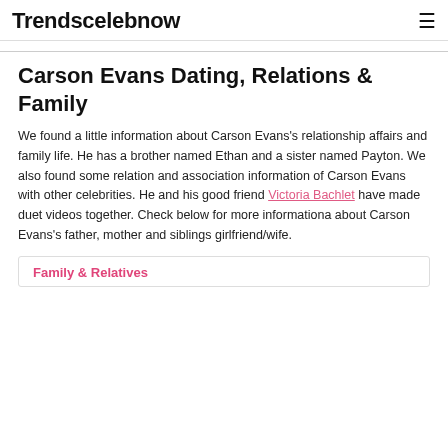Trendscelebnow
Carson Evans Dating, Relations & Family
We found a little information about Carson Evans's relationship affairs and family life. He has a brother named Ethan and a sister named Payton. We also found some relation and association information of Carson Evans with other celebrities. He and his good friend Victoria Bachlet have made duet videos together. Check below for more informationa about Carson Evans's father, mother and siblings girlfriend/wife.
Family & Relatives